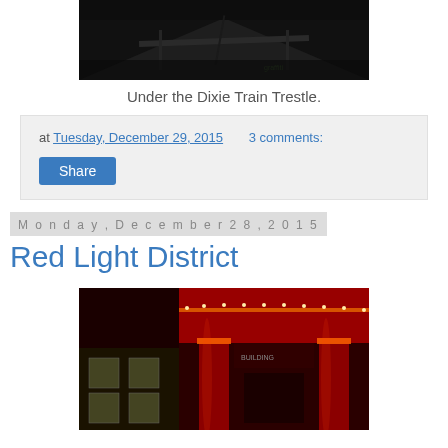[Figure (photo): Dark photo looking up under the Dixie Train Trestle, dimly lit with graffiti visible]
Under the Dixie Train Trestle.
at Tuesday, December 29, 2015   3 comments:
Share
Monday, December 28, 2015
Red Light District
[Figure (photo): Night photo of a building with red lighting on columns and string lights along the roofline]